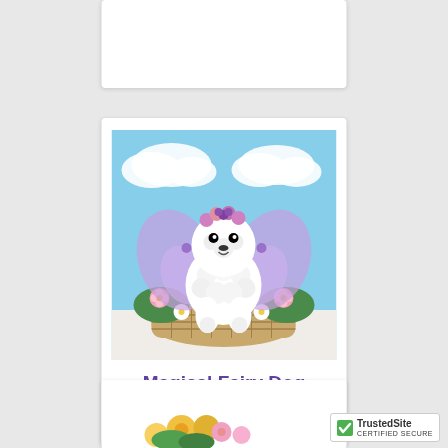[Figure (photo): Top portion of a white product card, partially visible at top of page]
[Figure (photo): Photo of a floral arrangement shaped like a white fluffy dog with purple fairy wings, sitting in a wicker basket surrounded by pink and white flowers, with a blue sky background]
Magical Fairy Dog
$64.99
[Figure (photo): Bottom card showing partial view of a flower arrangement]
[Figure (logo): TrustedSite CERTIFIED SECURE badge with green checkmark]